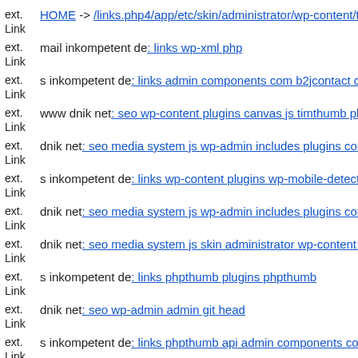ext. Link HOME -> /links.php4/app/etc/skin/administrator/wp-content/th
ext. Link mail inkompetent de: links wp-xml php
ext. Link s inkompetent de: links admin components com b2jcontact con
ext. Link www dnik net: seo wp-content plugins canvas js timthumb php
ext. Link dnik net: seo media system js wp-admin includes plugins conte
ext. Link s inkompetent de: links wp-content plugins wp-mobile-detector
ext. Link dnik net: seo media system js wp-admin includes plugins conte
ext. Link dnik net: seo media system js skin administrator wp-content the
ext. Link s inkompetent de: links phpthumb plugins phpthumb
ext. Link dnik net: seo wp-admin admin git head
ext. Link s inkompetent de: links phpthumb api admin components com